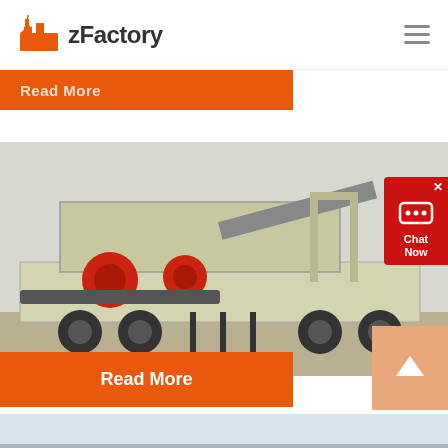zFactory
[Figure (screenshot): Partially visible orange Read More button from previous article]
[Figure (photo): Industrial mobile crushing plant with red components on trailer chassis]
1.INTRODUCTION: 2.PRODUCT ITS APPLICATION
2018-9-5    It is advantageous if t...
Read More
[Figure (screenshot): Chat Now widget in red on right side]
[Figure (screenshot): Scroll to top orange button with up arrow]
[Figure (photo): Partially visible photo for next article about size reduction]
(PDF) SIZE REDUCTION BY